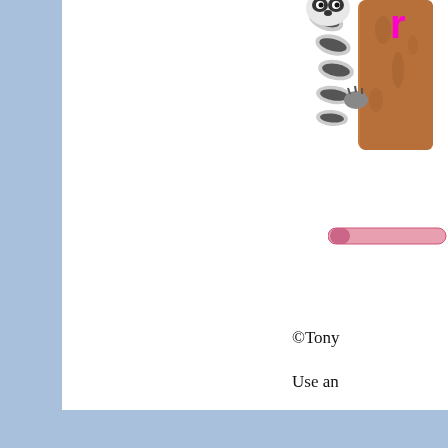[Figure (illustration): Cartoon raccoon peeking around a brown tree trunk, upper portion visible including striped tail, at the top center-right of the page]
[Figure (other): A pink horizontal bar/button element]
r
©Tony
Use an